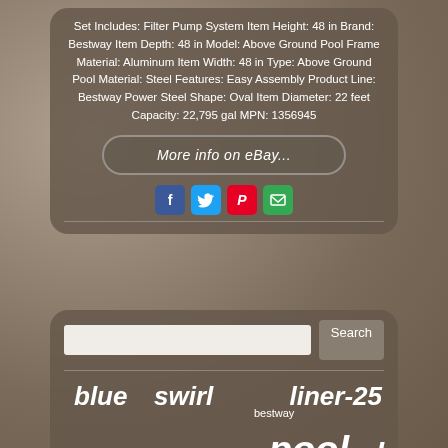Set Includes: Filter Pump System Item Height: 48 in Brand: Bestway Item Depth: 48 in Model: Above Ground Pool Frame Material: Aluminum Item Width: 48 in Type: Above Ground Pool Material: Steel Features: Easy Assembly Product Line: Bestway Power Steel Shape: Oval Item Diameter: 22 feet Capacity: 22,795 gal MPN: 1356945
[Figure (other): Rounded rectangle button styled link reading 'More info on eBay...']
[Figure (other): Social media sharing icons: Facebook, Twitter, Pinterest, Email]
[Figure (other): Search bar with text input and Search button]
blue swirl liner-25 bestway pool oval plain liners caribbean